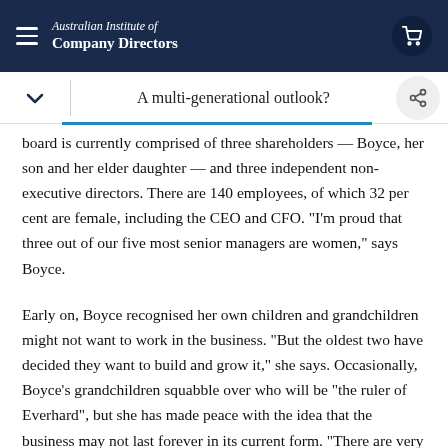Australian Institute of Company Directors
A multi-generational outlook?
board is currently comprised of three shareholders — Boyce, her son and her elder daughter — and three independent non- executive directors. There are 140 employees, of which 32 per cent are female, including the CEO and CFO. “I’m proud that three out of our five most senior managers are women,” says Boyce.
Early on, Boyce recognised her own children and grandchildren might not want to work in the business. “But the oldest two have decided they want to build and grow it,” she says. Occasionally, Boyce’s grandchildren squabble over who will be “the ruler of Everhard”, but she has made peace with the idea that the business may not last forever in its current form. “There are very few family